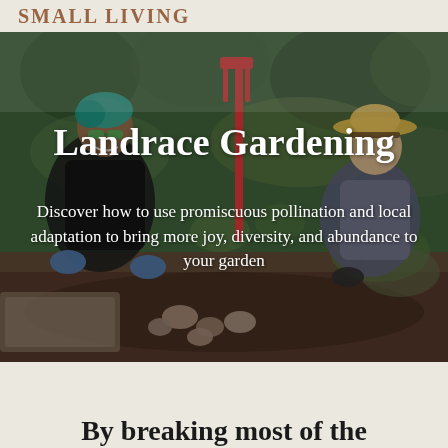SMALL LIVING
[Figure (photo): Two people harvesting root vegetables (potatoes) from a garden bed. One person on the left has colorful teal hair and green sunglasses wearing a black shirt and blue gloves. Another person on the right wears a tan straw hat and gray shirt. A red garden fork/shovel is visible in the background among green plants and trees.]
Landrace Gardening
Discover how to use promiscuous pollination and local adaptation to bring more joy, diversity, and abundance to your garden
By breaking most of the